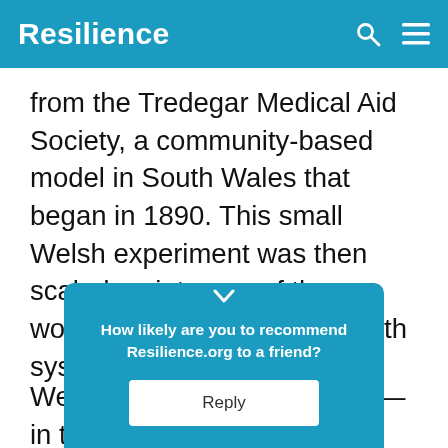Resilience
from the Tredegar Medical Aid Society, a community-based model in South Wales that began in 1890. This small Welsh experiment was then scaled up into one of the world's truly great public health systems.
We now have an opportunity—in the unkno[wn] ... [n]ow and th[e] ... [to] get people ... he
How likely are you to recommend Resilience.org to a friend? Reply